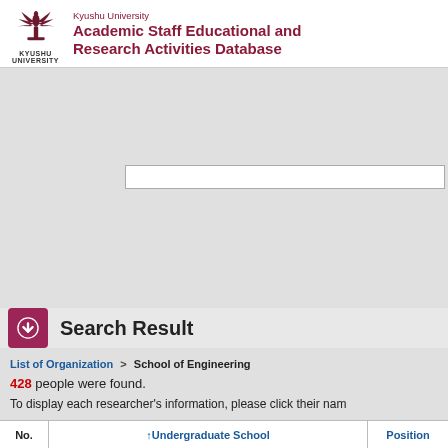Kyushu University Academic Staff Educational and Research Activities Database
Search Result
List of Organization > School of Engineering
428 people were found.
To display each researcher's information, please click their nam
| No. | Undergraduate School | Position |
| --- | --- | --- |